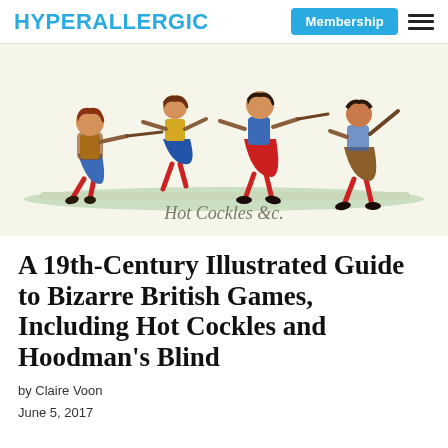HYPERALLERGIC  Membership ≡
[Figure (illustration): 19th-century colored illustration of children playing Hot Cockles, with figures in medieval-style costumes holding sticks and pulling each other. Calligraphic text at bottom reads 'Hot Cockles &c.']
A 19th-Century Illustrated Guide to Bizarre British Games, Including Hot Cockles and Hoodman's Blind
by Claire Voon
June 5, 2017